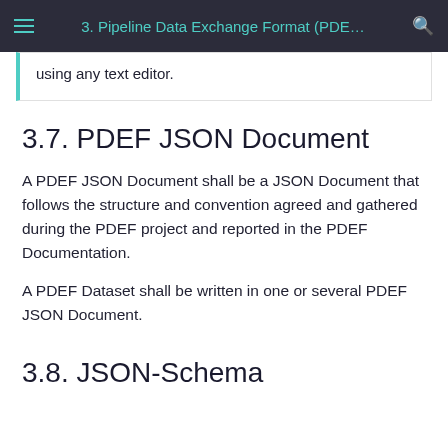3. Pipeline Data Exchange Format (PDE… 🔍
using any text editor.
3.7. PDEF JSON Document
A PDEF JSON Document shall be a JSON Document that follows the structure and convention agreed and gathered during the PDEF project and reported in the PDEF Documentation.
A PDEF Dataset shall be written in one or several PDEF JSON Document.
3.8. JSON-Schema